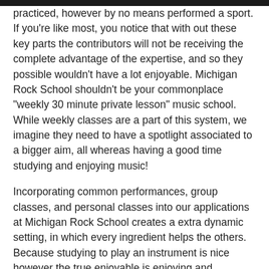practiced, however by no means performed a sport. If you're like most, you notice that with out these key parts the contributors will not be receiving the complete advantage of the expertise, and so they possible wouldn't have a lot enjoyable. Michigan Rock School shouldn't be your commonplace “weekly 30 minute private lesson” music school. While weekly classes are a part of this system, we imagine they need to have a spotlight associated to a bigger aim, all whereas having a good time studying and enjoying music!
Incorporating common performances, group classes, and personal classes into our applications at Michigan Rock School creates a extra dynamic setting, in which every ingredient helps the others. Because studying to play an instrument is nice however the true enjoyable is enjoying and performing. In addition to the “fun factor,” we additionally acknowledge the educational advantages that